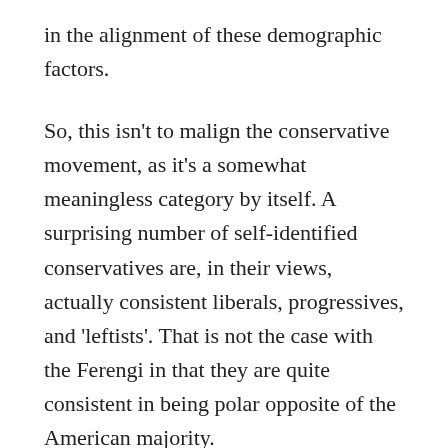in the alignment of these demographic factors.
So, this isn't to malign the conservative movement, as it's a somewhat meaningless category by itself. A surprising number of self-identified conservatives are, in their views, actually consistent liberals, progressives, and 'leftists'. That is not the case with the Ferengi in that they are quite consistent in being polar opposite of the American majority.
By the way, this has much to do with symbolic ideology. It's quite powerful in as perception management, social control, and rehtorical manipulation. The culture war issues are the